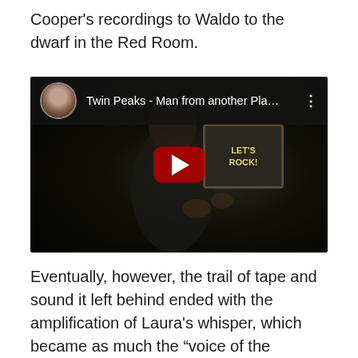Cooper's recordings to Waldo to the dwarf in the Red Room.
[Figure (screenshot): YouTube video embed thumbnail showing 'Twin Peaks - Man from another Pla...' with a dark scene of a person holding a chalkboard sign reading 'LET'S ROCK!' and a red YouTube play button in the center.]
Eventually, however, the trail of tape and sound it left behind ended with the amplification of Laura's whisper, which became as much the “voice of the people” as Laura's voice. After all, ABC instructed Lynch and Frost to